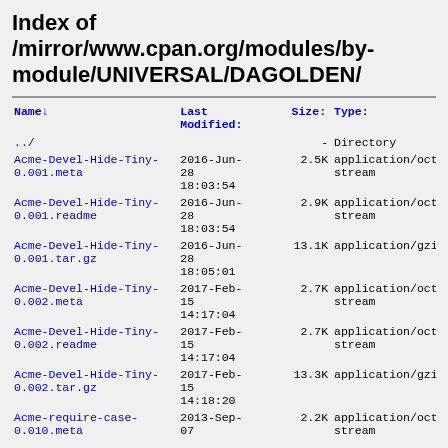Index of /mirror/www.cpan.org/modules/by-module/UNIVERSAL/DAGOLDEN/
| Name↓ | Last Modified: | Size: | Type: |
| --- | --- | --- | --- |
| ../ |  | - | Directory |
| Acme-Devel-Hide-Tiny-0.001.meta | 2016-Jun-28 18:03:54 | 2.5K | application/octet-stream |
| Acme-Devel-Hide-Tiny-0.001.readme | 2016-Jun-28 18:03:54 | 2.9K | application/octet-stream |
| Acme-Devel-Hide-Tiny-0.001.tar.gz | 2016-Jun-28 18:05:01 | 13.1K | application/gzip |
| Acme-Devel-Hide-Tiny-0.002.meta | 2017-Feb-15 14:17:04 | 2.7K | application/octet-stream |
| Acme-Devel-Hide-Tiny-0.002.readme | 2017-Feb-15 14:17:04 | 2.7K | application/octet-stream |
| Acme-Devel-Hide-Tiny-0.002.tar.gz | 2017-Feb-15 14:18:20 | 13.3K | application/gzip |
| Acme-require-case-0.010.meta | 2013-Sep-07 | 2.2K | application/octet-stream |